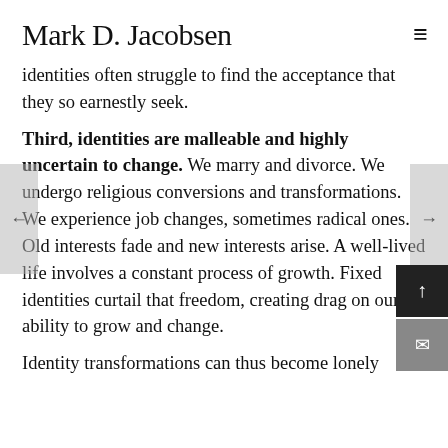Mark D. Jacobsen
identities often struggle to find the acceptance that they so earnestly seek.
Third, identities are malleable and highly uncertain to change. We marry and divorce. We undergo religious conversions and transformations. We experience job changes, sometimes radical ones. Old interests fade and new interests arise. A well-lived life involves a constant process of growth. Fixed identities curtail that freedom, creating drag on our ability to grow and change.
Identity transformations can thus become lonely